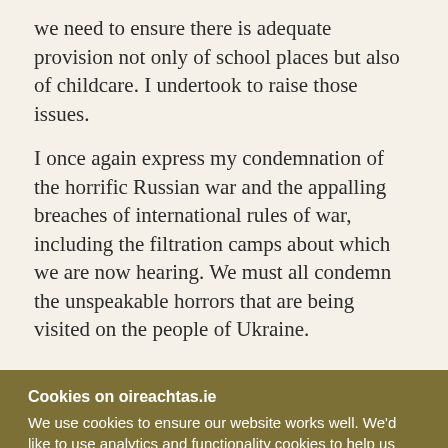we need to ensure there is adequate provision not only of school places but also of childcare. I undertook to raise those issues.
I once again express my condemnation of the horrific Russian war and the appalling breaches of international rules of war, including the filtration camps about which we are now hearing. We must all condemn the unspeakable horrors that are being visited on the people of Ukraine.
Cookies on oireachtas.ie
We use cookies to ensure our website works well. We'd like to use analytics and functionality cookies to help us improve it but we require your consent to do so. If you don't consent, only necessary cookies will be used. Read more about our cookies
Manage cookies
Accept all cookies